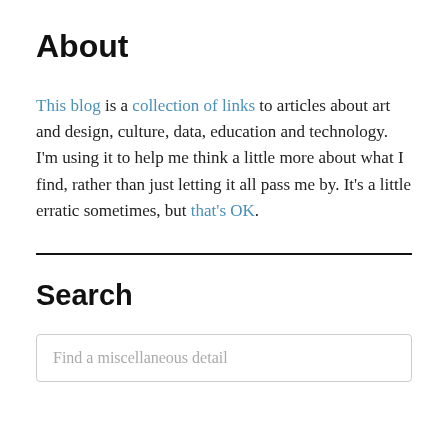About
This blog is a collection of links to articles about art and design, culture, data, education and technology. I'm using it to help me think a little more about what I find, rather than just letting it all pass me by. It's a little erratic sometimes, but that's OK.
Search